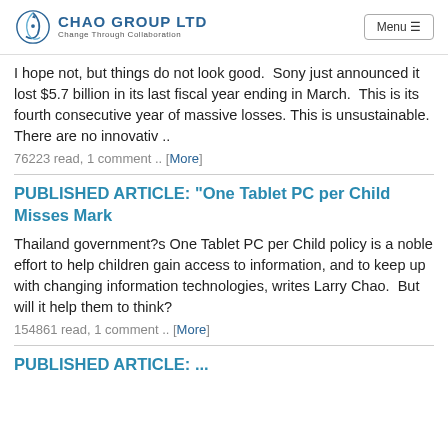Chao Group Ltd — Change Through Collaboration | Menu
I hope not, but things do not look good.  Sony just announced it lost $5.7 billion in its last fiscal year ending in March.  This is its fourth consecutive year of massive losses. This is unsustainable.  There are no innovativ ..
76223 read, 1 comment .. [More]
PUBLISHED ARTICLE: "One Tablet PC per Child Misses Mark
Thailand government?s One Tablet PC per Child policy is a noble effort to help children gain access to information, and to keep up with changing information technologies, writes Larry Chao.  But will it help them to think?
154861 read, 1 comment .. [More]
PUBLISHED ARTICLE: ...